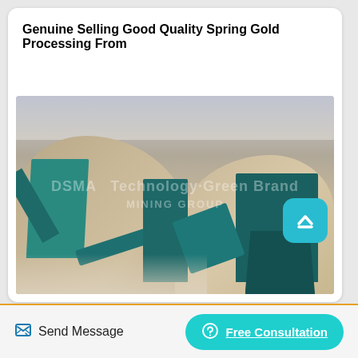Genuine Selling Good Quality Spring Gold Processing From
[Figure (photo): Outdoor gold/mineral processing plant with teal-colored conveyor belts and machinery built into a rocky hillside quarry. Watermark text 'DSMA' visible on the image.]
Send Message
Free Consultation